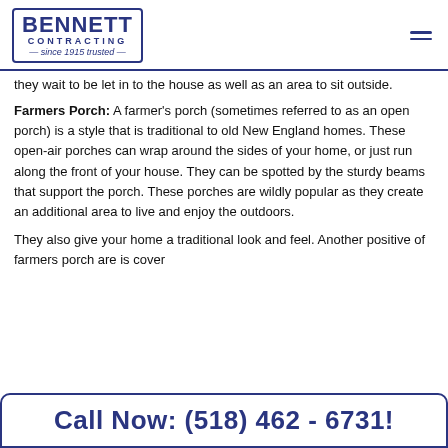BENNETT CONTRACTING since 1915 trusted
they wait to be let in to the house as well as an area to sit outside.
Farmers Porch: A farmer's porch (sometimes referred to as an open porch) is a style that is traditional to old New England homes. These open-air porches can wrap around the sides of your home, or just run along the front of your house. They can be spotted by the sturdy beams that support the porch. These porches are wildly popular as they create an additional area to live and enjoy the outdoors.
They also give your home a traditional look and feel. Another positive of farmers porch are is cover
Call Now: (518) 462 - 6731!